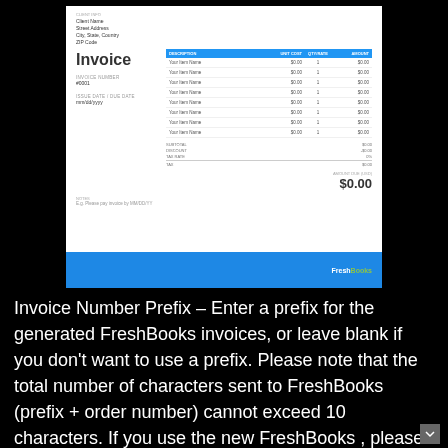[Figure (screenshot): Screenshot of a FreshBooks invoice template showing Invoice title, invoice number, date fields, a table with description/unit cost/quantity/amount columns with placeholder rows showing $0.00 values, subtotal/discount/tax/total summary, amount due of $0.00, a notes section, and a blue footer with FreshBooks logo.]
Invoice Number Prefix – Enter a prefix for the generated FreshBooks invoices, or leave blank if you don't want to use a prefix. Please note that the total number of characters sent to FreshBooks (prefix + order number) cannot exceed 10 characters. If you use the new FreshBooks , please reach out to FreshBooks's customer service to change your account. This is best to do